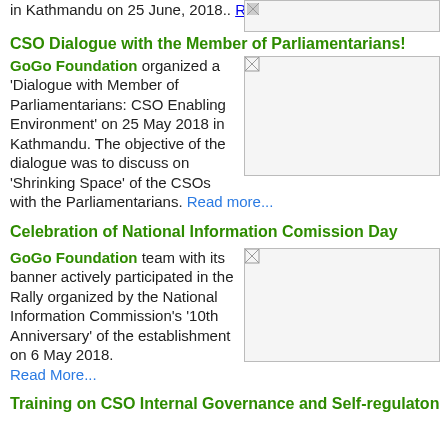in Kathmandu on 25 June, 2018.. Read More...
CSO Dialogue with the Member of Parliamentarians!
GoGo Foundation organized a 'Dialogue with Member of Parliamentarians: CSO Enabling Environment' on 25 May 2018 in Kathmandu. The objective of the dialogue was to discuss on 'Shrinking Space' of the CSOs with the Parliamentarians. Read more...
[Figure (photo): Photo placeholder for CSO Dialogue event]
Celebration of National Information Comission Day
GoGo Foundation team with its banner actively participated in the Rally organized by the National Information Commission's '10th Anniversary' of the establishment on 6 May 2018. Read More...
[Figure (photo): Photo placeholder for National Information Commission Day rally]
Training on CSO Internal Governance and Self-regulaton